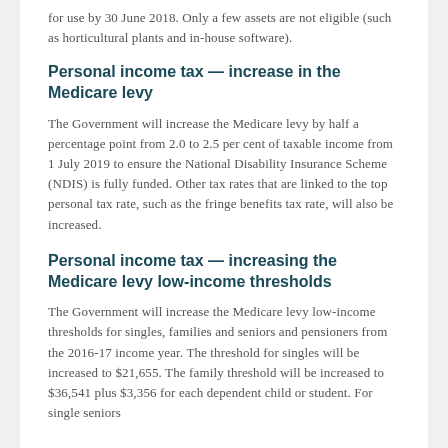for use by 30 June 2018. Only a few assets are not eligible (such as horticultural plants and in-house software).
Personal income tax — increase in the Medicare levy
The Government will increase the Medicare levy by half a percentage point from 2.0 to 2.5 per cent of taxable income from 1 July 2019 to ensure the National Disability Insurance Scheme (NDIS) is fully funded. Other tax rates that are linked to the top personal tax rate, such as the fringe benefits tax rate, will also be increased.
Personal income tax — increasing the Medicare levy low-income thresholds
The Government will increase the Medicare levy low-income thresholds for singles, families and seniors and pensioners from the 2016-17 income year. The threshold for singles will be increased to $21,655. The family threshold will be increased to $36,541 plus $3,356 for each dependent child or student. For single seniors